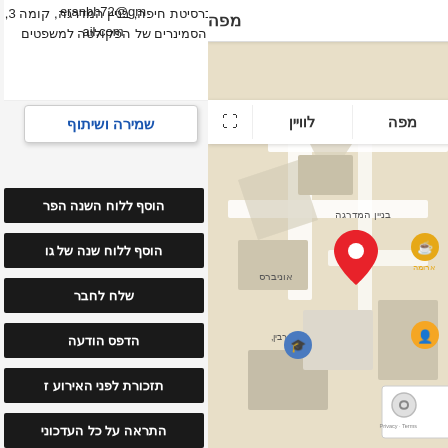אוניברסיטת חיפה, בניין המדרגה, קומה 3, חדר הסמינרים של הפקולטה למשפטים
eranbh72@gmail.com
[Figure (screenshot): Google Maps view showing a university area with a red location pin marker]
מפה
לוויין
שמירה ושיתוף
הוסף ללוח השנה הפר
הוסף ללוח שנה של גו
שלח לחבר
הדפס הודעה
תזכורת לפני האירוע ז
התראה על כל העדכוני